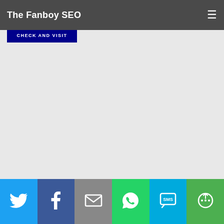The Fanboy SEO
[Figure (screenshot): Blogmeter widget card showing Ranked #6, Views Today: 425, with CHECK AND VISIT button]
Share buttons: Twitter, Facebook, Email, WhatsApp, SMS, More